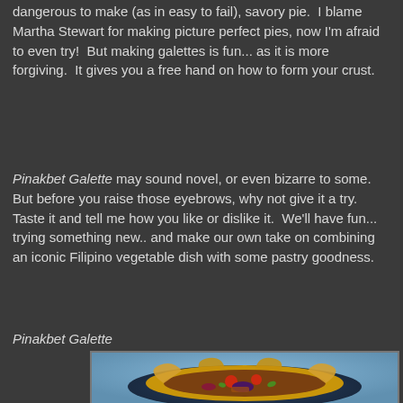dangerous to make (as in easy to fail), savory pie.  I blame Martha Stewart for making picture perfect pies, now I'm afraid to even try!  But making galettes is fun... as it is more forgiving.  It gives you a free hand on how to form your crust.
Pinakbet Galette may sound novel, or even bizarre to some.  But before you raise those eyebrows, why not give it a try.  Taste it and tell me how you like or dislike it.  We'll have fun... trying something new.. and make our own take on combining an iconic Filipino vegetable dish with some pastry goodness.
Pinakbet Galette
[Figure (photo): A Pinakbet Galette — a rustic free-form pastry with a golden-brown folded crust on a dark round plate, filled with colorful Filipino vegetables including tomatoes, okra, eggplant, and other mixed vegetables.]